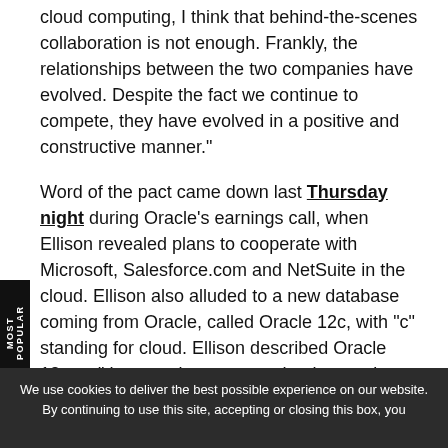cloud computing, I think that behind-the-scenes collaboration is not enough. Frankly, the relationships between the two companies have evolved. Despite the fact we continue to compete, they have evolved in a positive and constructive manner."
Word of the pact came down last Thursday night during Oracle's earnings call, when Ellison revealed plans to cooperate with Microsoft, Salesforce.com and NetSuite in the cloud. Ellison also alluded to a new database coming from Oracle, called Oracle 12c, with "c" standing for cloud. Ellison described Oracle 12c as "the most important technology we've ever developed for this new generation of cloud security."
There was no mention of Oracle 12c on the call Monday, but what is effective immediately is support
We use cookies to deliver the best possible experience on our website. By continuing to use this site, accepting or closing this box, you